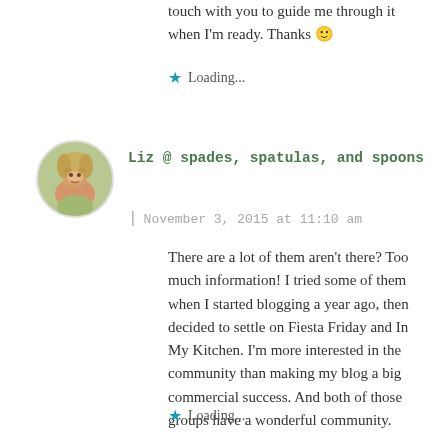touch with you to guide me through it when I'm ready. Thanks 🙂
Loading...
[Figure (photo): Round avatar photo of a smiling woman with blonde hair outdoors]
Liz @ spades, spatulas, and spoons
| November 3, 2015 at 11:10 am
There are a lot of them aren't there? Too much information! I tried some of them when I started blogging a year ago, then decided to settle on Fiesta Friday and In My Kitchen. I'm more interested in the community than making my blog a big commercial success. And both of those groups have a wonderful community.
Loading...